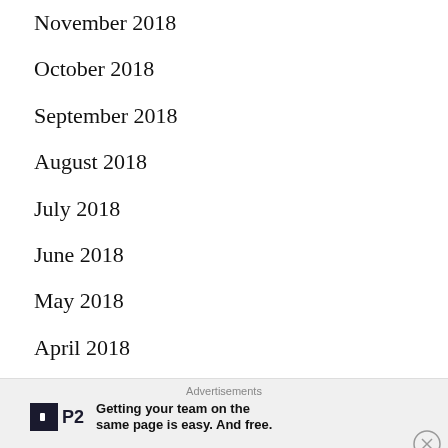November 2018
October 2018
September 2018
August 2018
July 2018
June 2018
May 2018
April 2018
March 2018
February 2018
January 2018
Advertisements
P2 — Getting your team on the same page is easy. And free.